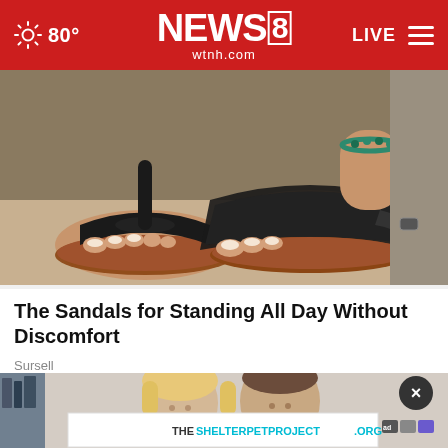NEWS8 wtnh.com | 80° | LIVE
[Figure (photo): Close-up photo of feet wearing black orthopedic sandals/thong sandals with ankle strap, standing on a mat]
The Sandals for Standing All Day Without Discomfort
Sursell
[Figure (photo): Photo of two people smiling, a blonde woman and a man, with a dark close button overlay and an advertisement banner for THESHELTERPETPROJECT.ORG]